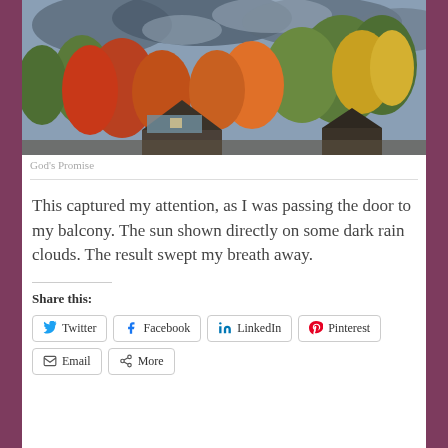[Figure (photo): Outdoor autumn scene with colorful trees (red, orange, yellow, green) and rooftops under a dramatic sky with dark rain clouds and sunlight.]
God's Promise
This captured my attention, as I was passing the door to my balcony. The sun shown directly on some dark rain clouds. The result swept my breath away.
Share this:
Twitter
Facebook
LinkedIn
Pinterest
Email
More